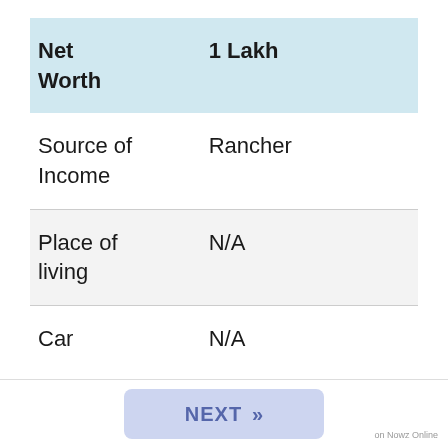| Label | Value |
| --- | --- |
| Net Worth | 1 Lakh |
| Source of Income | Rancher |
| Place of living | N/A |
| Car | N/A |
NEXT »
on Nowz Online